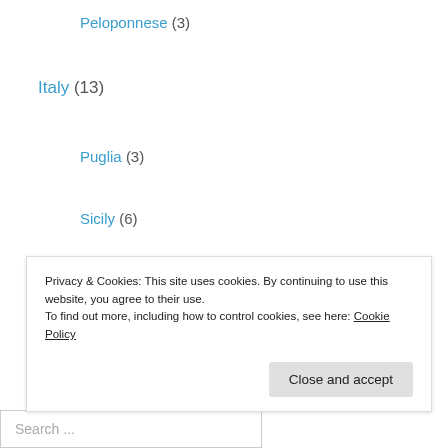Peloponnese (3)
Italy (13)
Puglia (3)
Sicily (6)
Jordan (1)
Rest days (5)
Spain (1)
The Big Trip (33)
Turkey (7)
Privacy & Cookies: This site uses cookies. By continuing to use this website, you agree to their use. To find out more, including how to control cookies, see here: Cookie Policy
Close and accept
Search ...